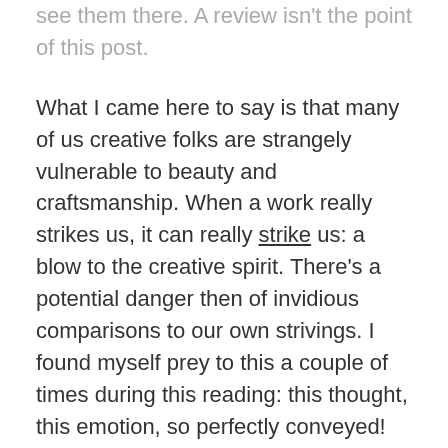see them there. A review isn't the point of this post.
What I came here to say is that many of us creative folks are strangely vulnerable to beauty and craftsmanship. When a work really strikes us, it can really strike us: a blow to the creative spirit. There's a potential danger then of invidious comparisons to our own strivings. I found myself prey to this a couple of times during this reading: this thought, this emotion, so perfectly conveyed! And then the sneaking corollary: what could I ever say to equal that? I've never been a jealous writer. I have, however, been a despairing writer. And it's important to train yourself to let that feeling go.
I'm just putting this out here so that if you're that vulnerable creative, and you've been struck painfully by some drawing or painting or story or elegant